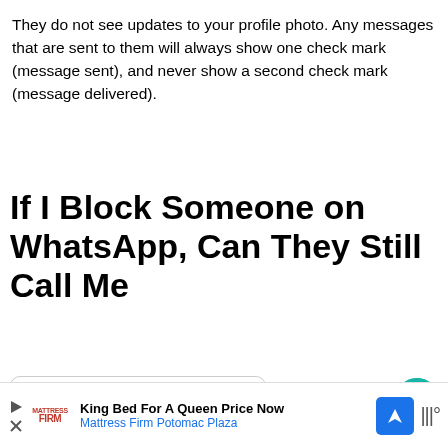They do not see updates to your profile photo. Any messages that are sent to them will always show one check mark (message sent), and never show a second check mark (message delivered).
If I Block Someone on WhatsApp, Can They Still Call Me
| Table of Contents |
| --- |
If you've blocked someone on your phone via the phone app, they can still WhatsApp you because they
[Figure (other): Advertisement banner: King Bed For A Queen Price Now - Mattress Firm Potomac Plaza, with Mattress Firm logo, blue navigation arrow icon, and muted audio icon]